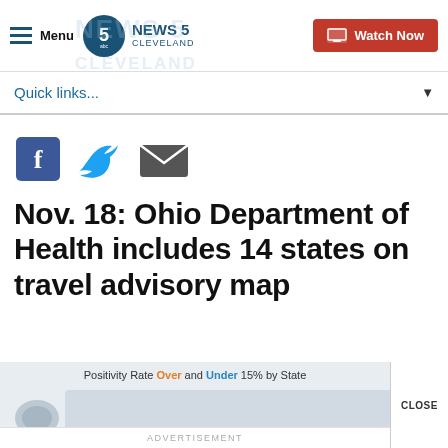Menu | News 5 Cleveland | Watch Now
Quick links...
[Figure (infographic): Social share icons: Facebook, Twitter, Email]
Nov. 18: Ohio Department of Health includes 14 states on travel advisory map
[Figure (map): Positivity Rate Over and Under 15% by State map with Alaska shown, with a CLOSE button overlay]
ADVERTISEMENT